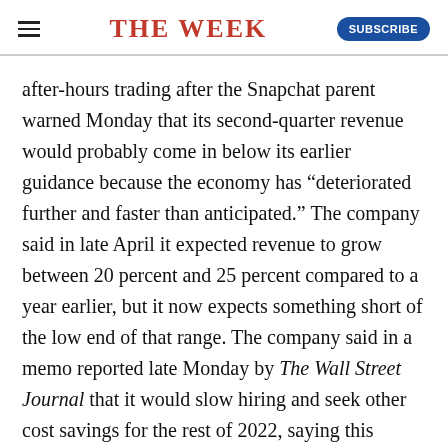THE WEEK
after-hours trading after the Snapchat parent warned Monday that its second-quarter revenue would probably come in below its earlier guidance because the economy has "deteriorated further and faster than anticipated." The company said in late April it expected revenue to grow between 20 percent and 25 percent compared to a year earlier, but it now expects something short of the low end of that range. The company said in a memo reported late Monday by The Wall Street Journal that it would slow hiring and seek other cost savings for the rest of 2022, saying this remains "a significant investment year" as it follows